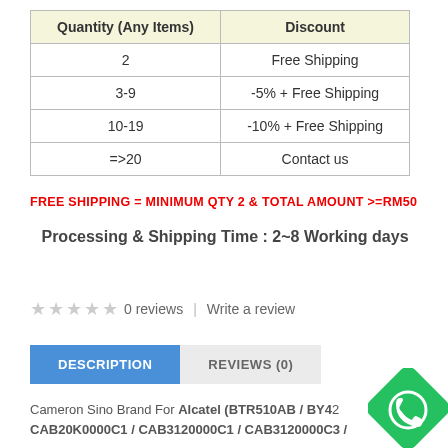| Quantity (Any Items) | Discount |
| --- | --- |
| 2 | Free Shipping |
| 3-9 | -5% + Free Shipping |
| 10-19 | -10% + Free Shipping |
| =>20 | Contact us |
FREE SHIPPING = MINIMUM QTY 2 & TOTAL AMOUNT >=RM50
Processing & Shipping Time : 2~8 Working days
0 reviews  |  Write a review
DESCRIPTION   REVIEWS (0)
Cameron Sino Brand For Alcatel (BTR510AB / BY42 CAB20K0000C1 / CAB3120000C1 / CAB3120000C3 /